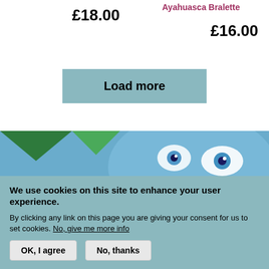£18.00
Ayahuasca Bralette
£16.00
Load more
[Figure (photo): AltShop.co.uk market stall with mannequins wearing colourful clothing, decorated with psychedelic eye mural in background]
We use cookies on this site to enhance your user experience.
By clicking any link on this page you are giving your consent for us to set cookies. No, give me more info
OK, I agree
No, thanks